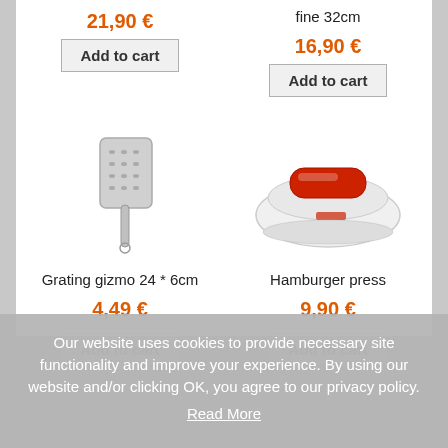21,90 €
fine 32cm
16,90 €
[Figure (photo): A stainless steel grating gizmo with handle]
[Figure (photo): A white and red hamburger press]
Grating gizmo 24 * 6cm
Hamburger press
4,49 €
9,90 €
Our website uses cookies to provide necessary site functionality and improve your experience. By using our website and/or clicking OK, you agree to our privacy policy. Read More